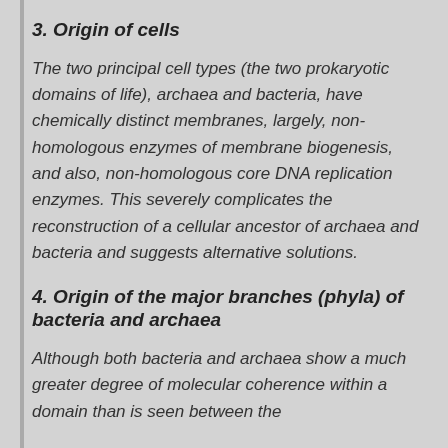3. Origin of cells
The two principal cell types (the two prokaryotic domains of life), archaea and bacteria, have chemically distinct membranes, largely, non-homologous enzymes of membrane biogenesis, and also, non-homologous core DNA replication enzymes. This severely complicates the reconstruction of a cellular ancestor of archaea and bacteria and suggests alternative solutions.
4. Origin of the major branches (phyla) of bacteria and archaea
Although both bacteria and archaea show a much greater degree of molecular coherence within a domain than is seen between the